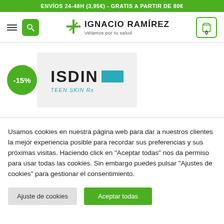ENVÍOS 24-48H (3,95€) - GRATIS A PARTIR DE 80€
[Figure (logo): Ignacio Ramírez pharmacy logo with green cross, name and tagline 'Velamos por tu salud']
[Figure (photo): ISDIN Teen Skin Rx product image with -15% discount badge]
Usamos cookies en nuestra página web para dar a nuestros clientes la mejor experiencia posible para recordar sus preferencias y sus próximas visitas. Haciendo click en "Aceptar todas" nos da permiso para usar todas las cookies. Sin embargo puedes pulsar "Ajustes de cookies" para gestionar el consentimiento.
Ajuste de cookies
Aceptar todas